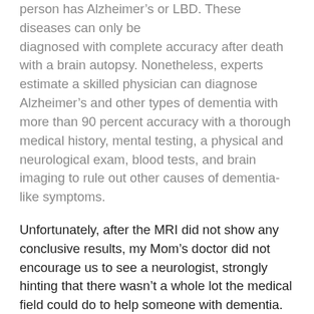person has Alzheimer's or LBD. These diseases can only be diagnosed with complete accuracy after death with a brain autopsy. Nonetheless, experts estimate a skilled physician can diagnose Alzheimer's and other types of dementia with more than 90 percent accuracy with a thorough medical history, mental testing, a physical and neurological exam, blood tests, and brain imaging to rule out other causes of dementia-like symptoms.
Unfortunately, after the MRI did not show any conclusive results, my Mom's doctor did not encourage us to see a neurologist, strongly hinting that there wasn't a whole lot the medical field could do to help someone with dementia. On top of that, my Mom stubbornly insisted she did not want to visit a specialist. She was afraid of more testing, which she absolutely hated, and preferred not to know if she had Alzheimer's.
After some research, it was clear that several of Mom's symptoms matched LBD. However, I allowed my Mom's feelings and her doctor's advice to prevent me from getting a formal diagnosis – that is, until the hallucinations began. At first, they were the result of medications